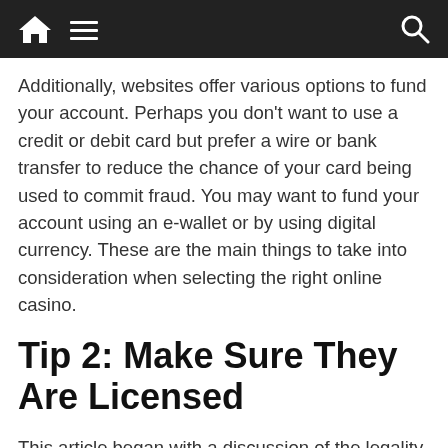[Navigation bar with home icon, menu icon, search icon]
Additionally, websites offer various options to fund your account. Perhaps you don't want to use a credit or debit card but prefer a wire or bank transfer to reduce the chance of your card being used to commit fraud. You may want to fund your account using an e-wallet or by using digital currency. These are the main things to take into consideration when selecting the right online casino.
Tip 2: Make Sure They Are Licensed
This article began with a discussion of the legality of gambling on the internet. To avoid any legal